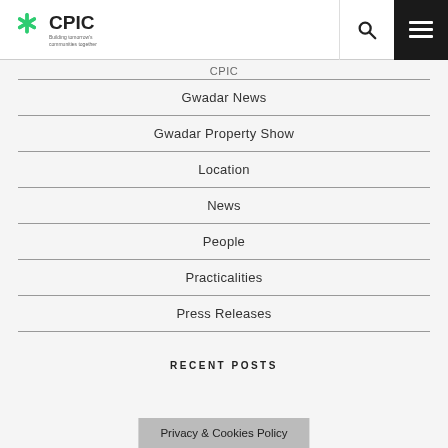CPIC — Building tomorrow's communities together
Gwadar News
Gwadar Property Show
Location
News
People
Practicalities
Press Releases
RECENT POSTS
Privacy & Cookies Policy